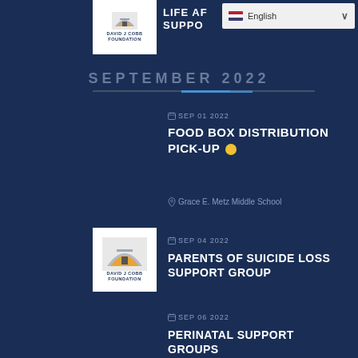[Figure (logo): David J Cobb Foundation logo - white box with arch/mountain graphic and text]
LIFE AF... SUPPO...
[Figure (screenshot): Language selector dropdown showing 'en English' with dropdown arrow]
SEPTEMBER 2022
SEP 01 2022
FOOD BOX DISTRIBUTION PICK-UP
Grace E. Metz Middle School
[Figure (logo): David J Cobb Foundation logo in white box]
SEP 04 2022
PARENTS OF SUICIDE LOSS SUPPORT GROUP
SEP 06 2022
PERINATAL SUPPORT GROUPS